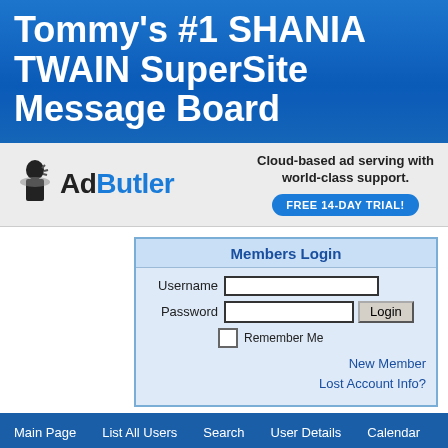Tommy's #1 SHANIA TWAIN SuperSite Message Board
[Figure (logo): AdButler logo with butler icon and tagline 'Cloud-based ad serving with world-class support. FREE 14-DAY TRIAL!']
| Username |  |  |
| Password |  | Login |
|  | Remember Me |  |
|  | New Member |  |
|  | Lost Account Info? |  |
Main Page   List All Users   Search   User Details   Calendar
Tommy's #1 SHANIA TWAIN SuperSite -> Tommy's #1 SHANIA TWAIN